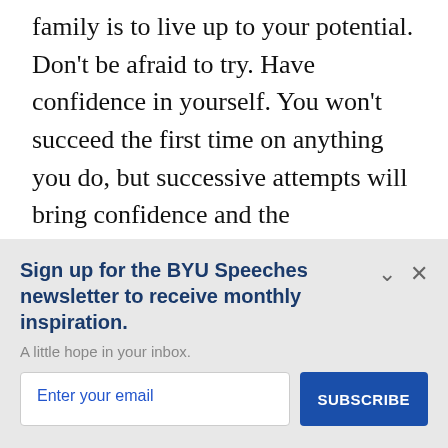family is to live up to your potential. Don't be afraid to try. Have confidence in yourself. You won't succeed the first time on anything you do, but successive attempts will bring confidence and the development of new talents.
Sign up for the BYU Speeches newsletter to receive monthly inspiration.
A little hope in your inbox.
Enter your email
SUBSCRIBE